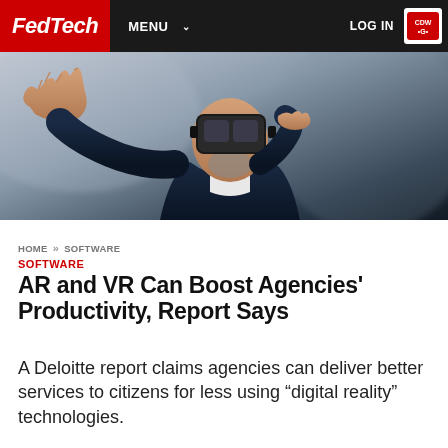FedTech | MENU | LOG IN
[Figure (photo): A man wearing a VR headset reaching out with one hand against a blurred office background]
HOME >> SOFTWARE
SOFTWARE
AR and VR Can Boost Agencies' Productivity, Report Says
A Deloitte report claims agencies can deliver better services to citizens for less using "digital reality" technologies.